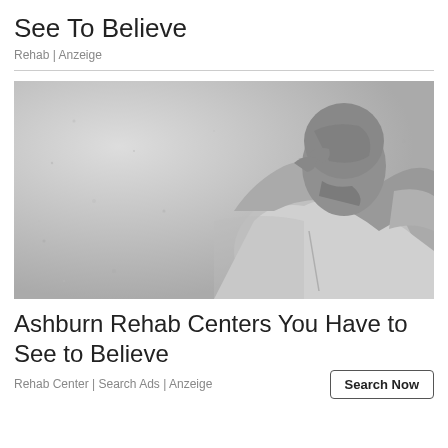See To Believe
Rehab | Anzeige
[Figure (photo): Black and white photograph of a person sitting against a concrete wall, hands clasped behind their head, appearing distressed.]
Ashburn Rehab Centers You Have to See to Believe
Rehab Center | Search Ads | Anzeige
Search Now